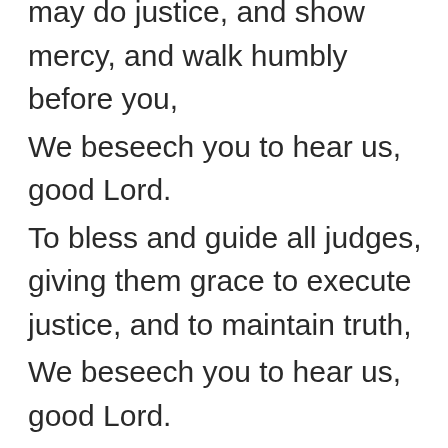may do justice, and show mercy, and walk humbly before you,
We beseech you to hear us, good Lord.
To bless and guide all judges, giving them grace to execute justice, and to maintain truth,
We beseech you to hear us, good Lord.
To bless and keep our armed forces by sea, and land, and air, and to shield them in all dangers and adversities,
We beseech you to hear us, good Lord.
To bless and protect all who serve their communities by their labor and learning,
We beseech you to hear us, good Lord.